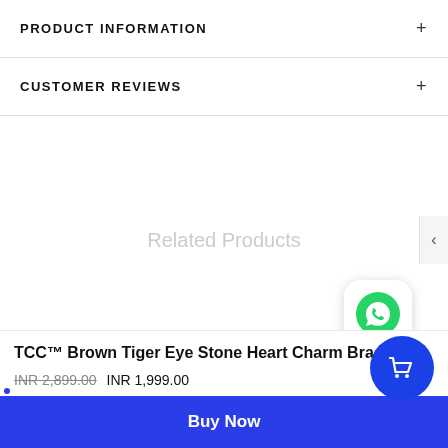PRODUCT INFORMATION
CUSTOMER REVIEWS
Related Products
TCC™ Brown Tiger Eye Stone Heart Charm Bracelet
INR 2,899.00  INR 1,999.00
Buy Now